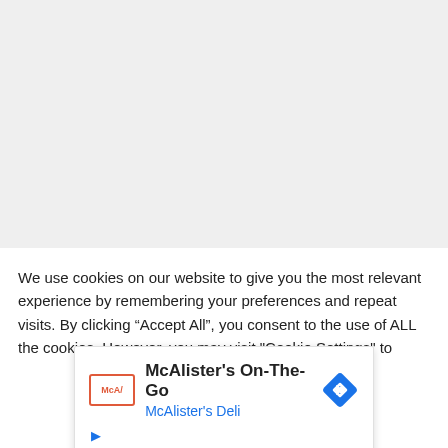[Figure (screenshot): Gray blank/placeholder area at top of page, approximately 248px tall]
We use cookies on our website to give you the most relevant experience by remembering your preferences and repeat visits. By clicking “Accept All”, you consent to the use of ALL the cookies. However, you may visit "Cookie Settings" to
[Figure (screenshot): McAlister's On-The-Go advertisement card showing McAlister's Deli logo, name, navigation diamond icon, and play/close controls]